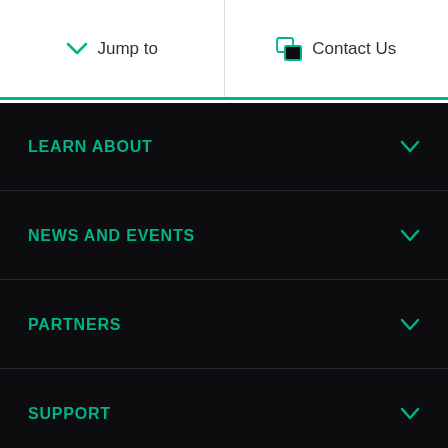Jump to | Contact Us
LEARN ABOUT
NEWS AND EVENTS
PARTNERS
SUPPORT
COMMUNITIES